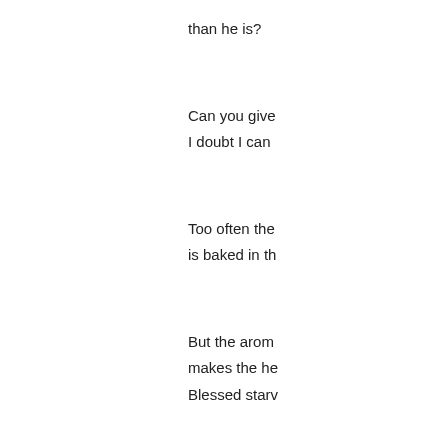than he is?
Can you give
I doubt I can
Too often the
is baked in th
But the arom
makes the he
Blessed starv
I gave you br
You ate.